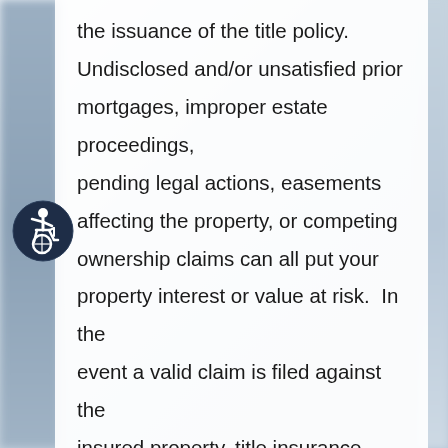the issuance of the title policy. Undisclosed and/or unsatisfied prior mortgages, improper estate proceedings, pending legal actions, easements affecting the property, or competing ownership claims can all put your property interest or value at risk.  In the event a valid claim is filed against the insured property, title insurance covers the financial loss up to the face amount on the policy and the full cost of any legal defense of your title interest. The title insurance commitment that the buyer receives prior to closing serves to
[Figure (illustration): Accessibility icon — white stick figure on dark navy circular background (wheelchair accessible symbol)]